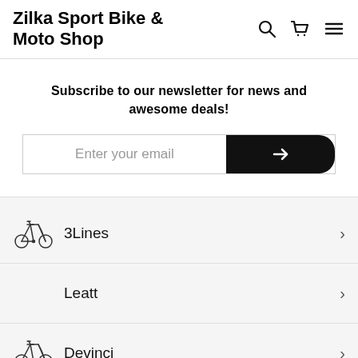Zilka Sport Bike & Moto Shop
Subscribe to our newsletter for news and awesome deals!
3Lines
Leatt
Devinci
Industry Nine